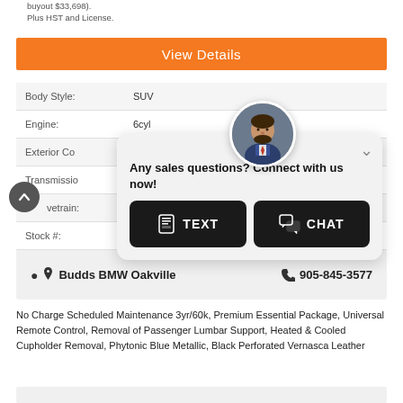buyout $33,698).
Plus HST and License.
View Details
| Field | Value |
| --- | --- |
| Body Style: | SUV |
| Engine: | 6cyl |
| Exterior Co |  |
| Transmissio |  |
| vetrain: |  |
| Stock #: |  |
| City: |  |
[Figure (photo): Circular avatar photo of a male salesperson with beard in suit]
Any sales questions? Connect with us now!
TEXT
CHAT
Budds BMW Oakville    905-845-3577
No Charge Scheduled Maintenance 3yr/60k, Premium Essential Package, Universal Remote Control, Removal of Passenger Lumbar Support, Heated & Cooled Cupholder Removal, Phytonic Blue Metallic, Black Perforated Vernasca Leather